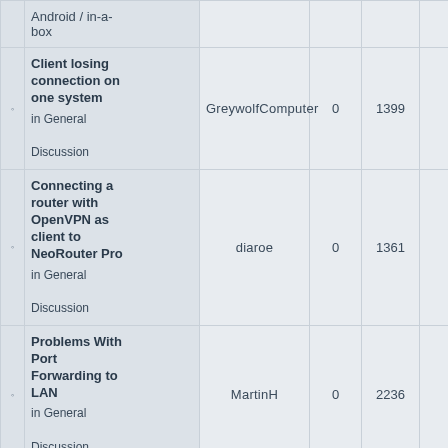|  | Topic | Author | Replies | Views | Last Post |
| --- | --- | --- | --- | --- | --- |
| ◦ | Android / in-a-box |  |  |  |  |
| ◦ | Client losing connection on one system
in General Discussion | GreywolfComputer | 0 | 1399 | Mon Ap
8:
Greywo |
| ◦ | Connecting a router with OpenVPN as client to NeoRouter Pro
in General Discussion | diaroe | 0 | 1361 | Thu Ma
5:
dia |
| ◦ | Problems With Port Forwarding to LAN
in General Discussion | MartinH | 0 | 2236 | Sun Oc
10
Mar |
| ◦ | Web client & extension crash if there's UTF8 chars in client
in Tablets / Touch devices / | someguynamedbob | 0 | 2234 | Thu Se
7: |